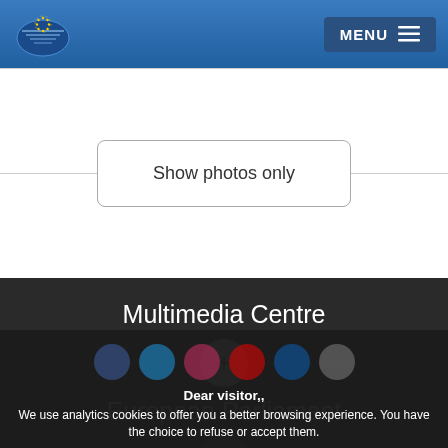European Parliament — MENU
Show photos only
Multimedia Centre
European Parliament
Dear visitor,, We use analytics cookies to offer you a better browsing experience. You have the choice to refuse or accept them.
I refuse analytics cookies
I accept analytics cookies
For any information on the other cookies and server logs we use, we invite you to read our data protection policy, our cookies policy and our cookies inventory..